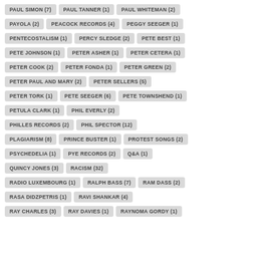PAUL SIMON (7)
PAUL TANNER (1)
PAUL WHITEMAN (2)
PAYOLA (2)
PEACOCK RECORDS (4)
PEGGY SEEGER (1)
PENTECOSTALISM (1)
PERCY SLEDGE (2)
PETE BEST (1)
PETE JOHNSON (1)
PETER ASHER (1)
PETER CETERA (1)
PETER COOK (2)
PETER FONDA (1)
PETER GREEN (2)
PETER PAUL AND MARY (2)
PETER SELLERS (5)
PETER TORK (1)
PETE SEEGER (6)
PETE TOWNSHEND (1)
PETULA CLARK (1)
PHIL EVERLY (2)
PHILLES RECORDS (2)
PHIL SPECTOR (12)
PLAGIARISM (8)
PRINCE BUSTER (1)
PROTEST SONGS (2)
PSYCHEDELIA (1)
PYE RECORDS (2)
Q&A (1)
QUINCY JONES (3)
RACISM (32)
RADIO LUXEMBOURG (1)
RALPH BASS (7)
RAM DASS (2)
RASA DIDZPETRIS (1)
RAVI SHANKAR (4)
RAY CHARLES (3)
RAY DAVIES (1)
RAYNOMA GORDY (1)